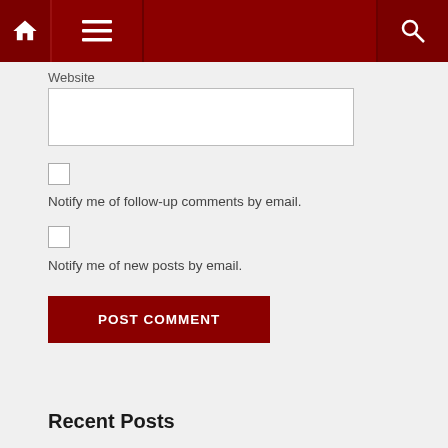[Figure (screenshot): Navigation bar with home icon, hamburger menu, and search icon on dark red background]
Website
Notify me of follow-up comments by email.
Notify me of new posts by email.
POST COMMENT
Recent Posts